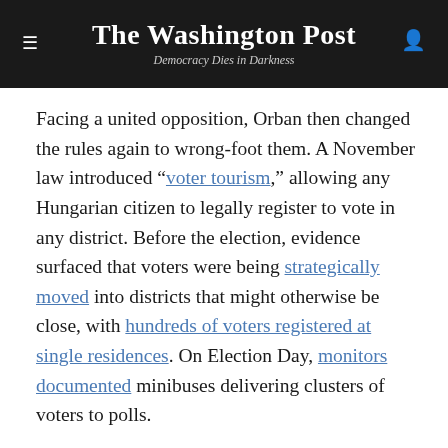The Washington Post — Democracy Dies in Darkness
Facing a united opposition, Orban then changed the rules again to wrong-foot them. A November law introduced “voter tourism,” allowing any Hungarian citizen to legally register to vote in any district. Before the election, evidence surfaced that voters were being strategically moved into districts that might otherwise be close, with hundreds of voters registered at single residences. On Election Day, monitors documented minibuses delivering clusters of voters to polls.
Beyond rule-rigging, Orban so dominates the broadcast and print media landscape that the opposition could